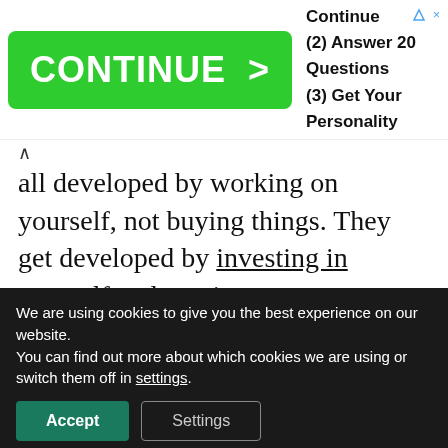[Figure (screenshot): Advertisement banner with green CONTINUE > button and text: (1) Click Continue, (2) Answer 20 Questions, (3) Get Your Personality Result]
all developed by working on yourself, not buying things. They get developed by investing in yourself and continuous improvement.
That leads us to the second part of the quote from Fight Club: “You are not your job, you’re not how much money you
We are using cookies to give you the best experience on our website.
You can find out more about which cookies we are using or switch them off in settings.